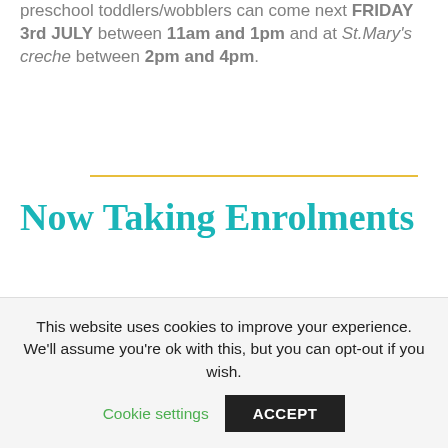preschool toddlers/wobblers can come next FRIDAY 3rd JULY between 11am and 1pm and at St.Mary's creche between 2pm and 4pm.
Now Taking Enrolments
Precious Children Daycare is now taking enrolments. Any parents who would like to enrol their child but HAVE NOT submitted their enrolment form request
This website uses cookies to improve your experience. We'll assume you're ok with this, but you can opt-out if you wish.
Cookie settings  ACCEPT